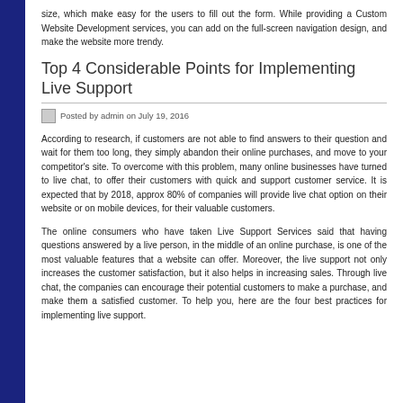size, which make easy for the users to fill out the form. While providing a Custom Website Development services, you can add on the full-screen navigation design, and make the website more trendy.
Top 4 Considerable Points for Implementing Live Support
Posted by admin on July 19, 2016
According to research, if customers are not able to find answers to their question and wait for them too long, they simply abandon their online purchases, and move to your competitor's site. To overcome with this problem, many online businesses have turned to live chat, to offer their customers with quick and support customer service. It is expected that by 2018, approx 80% of companies will provide live chat option on their website or on mobile devices, for their valuable customers.
The online consumers who have taken Live Support Services said that having questions answered by a live person, in the middle of an online purchase, is one of the most valuable features that a website can offer. Moreover, the live support not only increases the customer satisfaction, but it also helps in increasing sales. Through live chat, the companies can encourage their potential customers to make a purchase, and make them a satisfied customer. To help you, here are the four best practices for implementing live support.